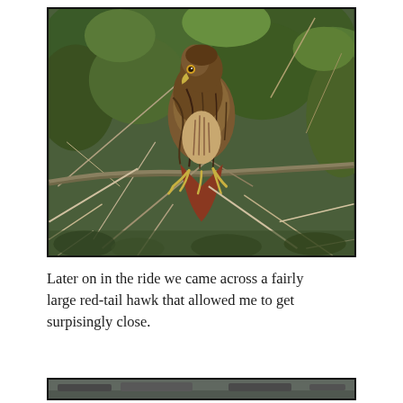[Figure (photo): A red-tail hawk perched on bare branches amid green shrubs and tangled brush. The bird is brown and tan with mottled plumage, facing left, with yellow talons gripping the branch. Background is dense green vegetation and bare twigs.]
Later on in the ride we came across a fairly large red-tail hawk that allowed me to get surpisingly close.
[Figure (photo): Partial view of a second photograph, cropped at the bottom of the page.]